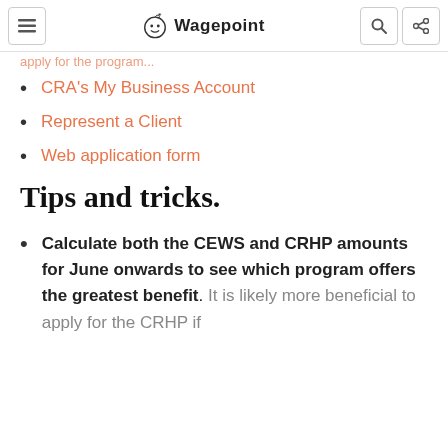Wagepoint
CRA's My Business Account
Represent a Client
Web application form
Tips and tricks.
Calculate both the CEWS and CRHP amounts for June onwards to see which program offers the greatest benefit. It is likely more beneficial to apply for the CRHP if...